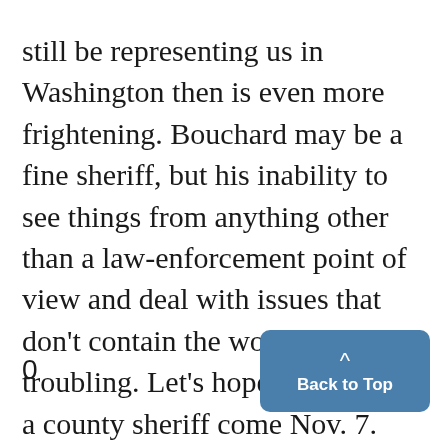still be representing us in Washington then is even more frightening. Bouchard may be a fine sheriff, but his inability to see things from anything other than a law-enforcement point of view and deal with issues that don't contain the word "illegal" is troubling. Let's hope he remains a county sheriff come Nov. 7. Kennelly can be reached at thenelly@umich.edu.
0